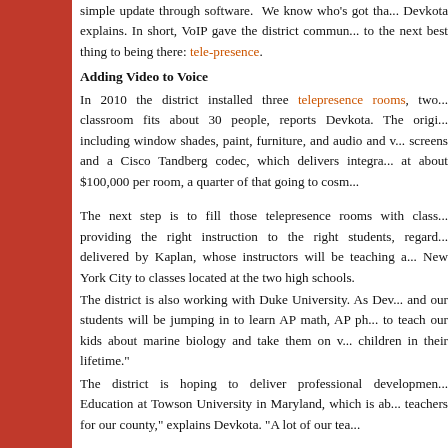simple update through software. We know who's got tha... Devkota explains. In short, VoIP gave the district commun... to the next best thing to being there: tele-presence.
Adding Video to Voice
In 2010 the district installed three telepresence rooms, two... classroom fits about 30 people, reports Devkota. The origi... including window shades, paint, furniture, and audio and v... screens and a Cisco Tandberg codec, which delivers integra... at about $100,000 per room, a quarter of that going to cosm...
The next step is to fill those telepresence rooms with class... providing the right instruction to the right students, regard... delivered by Kaplan, whose instructors will be teaching a... New York City to classes located at the two high schools.
The district is also working with Duke University. As Dev... and our students will be jumping in to learn AP math, AP ph... to teach our kids about marine biology and take them on v... children in their lifetime."
The district is hoping to deliver professional developmen... Education at Towson University in Maryland, which is ab... teachers for our county," explains Devkota. "A lot of our tea...